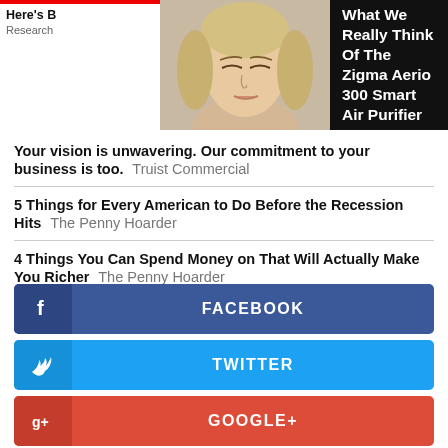[Figure (photo): Woman with closed eyes, photo used as thumbnail for article]
What We Really Think Of The Zigma Aerio 300 Smart Air Purifier
Here's B... Research
Your vision is unwavering. Our commitment to your business is too. Truist Commercial
5 Things for Every American to Do Before the Recession Hits The Penny Hoarder
4 Things You Can Spend Money on That Will Actually Make You Richer The Penny Hoarder
Motley Fool Issues Rare "All In" Buy Alert The Motley Fool
Hands Down One of the Best Cards for Good Credit The Ascent
New EV Set to Disrupt Entire Industry Empire Financial Research
FACEBOOK
TWITTER
GOOGLE+